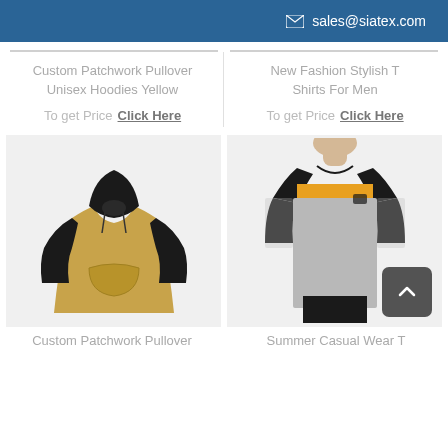✉ sales@siatex.com
Custom Patchwork Pullover Unisex Hoodies Yellow
To get Price Click Here
New Fashion Stylish T Shirts For Men
To get Price Click Here
[Figure (photo): Black and yellow/tan patchwork pullover hoodie on white/grey background]
[Figure (photo): Man wearing black, yellow stripe, and grey colorblock t-shirt, with a scroll-to-top button overlay]
Custom Patchwork Pullover
Summer Casual Wear T